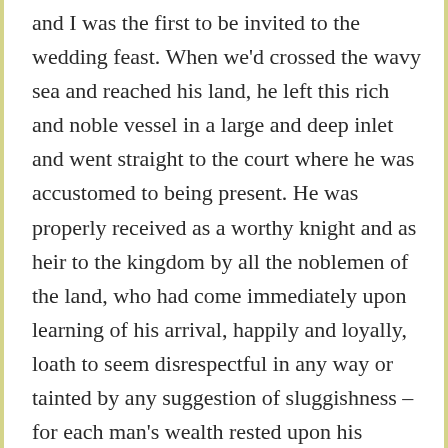and I was the first to be invited to the wedding feast. When we'd crossed the wavy sea and reached his land, he left this rich and noble vessel in a large and deep inlet and went straight to the court where he was accustomed to being present. He was properly received as a worthy knight and as heir to the kingdom by all the noblemen of the land, who had come immediately upon learning of his arrival, happily and loyally, loath to seem disrespectful in any way or tainted by any suggestion of sluggishness – for each man's wealth rested upon his family's established loyalty, which had been demonstrated meticulously since the country had first been won. So they received their king, and nothing